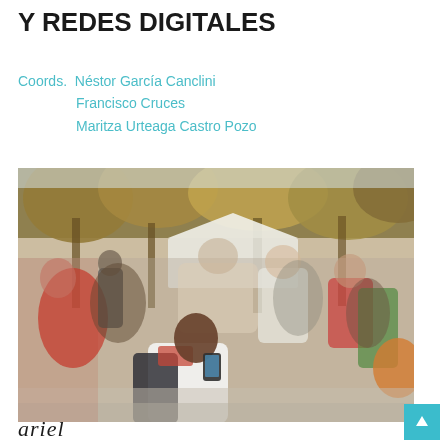Y REDES DIGITALES
Coords.  Néstor García Canclini
         Francisco Cruces
         Maritza Urteaga Castro Pozo
[Figure (photo): A blurred crowd of people outdoors in a park or public space with autumn trees in the background. In the foreground, a young woman with long brown hair is using a smartphone.]